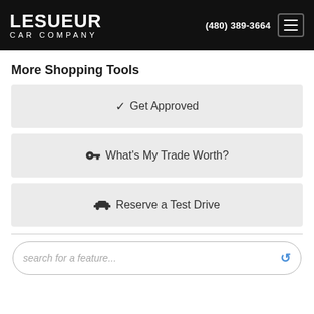LESUEUR CAR COMPANY | (480) 389-3664
More Shopping Tools
✓ Get Approved
🔑 What's My Trade Worth?
🚗 Reserve a Test Drive
search for a feature...